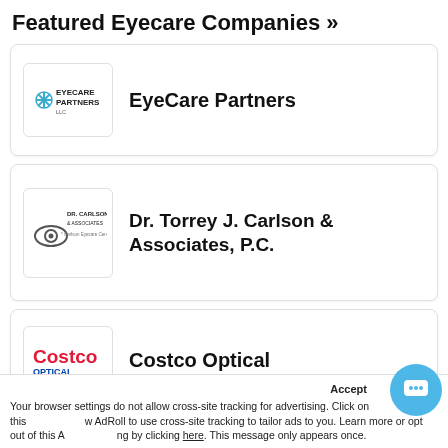Featured Eyecare Companies »
[Figure (logo): EyeCare Partners LLC logo with teal snowflake/asterisk icon]
EyeCare Partners
[Figure (logo): Dr. Carlson & Associates - Carlson Eyecare Center logo with eye/camera icon]
Dr. Torrey J. Carlson & Associates, P.C.
[Figure (logo): Costco Optical red and blue logo]
Costco Optical
Accept × Your browser settings do not allow cross-site tracking for advertising. Click on this to allow AdRoll to use cross-site tracking to tailor ads to you. Learn more or opt out of this A  ing by clicking here. This message only appears once.